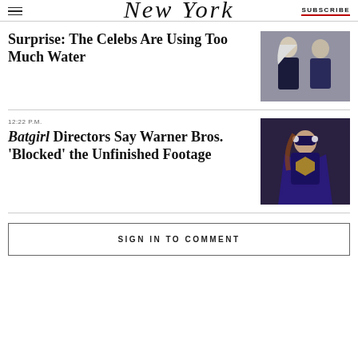New York Magazine
Surprise: The Celebs Are Using Too Much Water
[Figure (photo): Photo of two celebrities, a woman in a dark dress with long light hair and a man in a dark suit, standing together outdoors.]
Batgirl Directors Say Warner Bros. ‘Blocked’ the Unfinished Footage
[Figure (photo): Photo of an actress in a Batgirl superhero costume with cape and mask, in a dark action scene setting.]
SIGN IN TO COMMENT